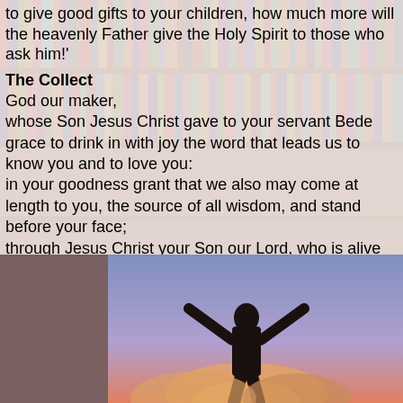to give good gifts to your children, how much more will the heavenly Father give the Holy Spirit to those who ask him!'
The Collect
God our maker,
whose Son Jesus Christ gave to your servant Bede grace to drink in with joy the word that leads us to know you and to love you:
in your goodness grant that we also may come at length to you, the source of all wisdom, and stand before your face;
through Jesus Christ your Son our Lord, who is alive and reigns with you,
in the unity of the Holy Spirit, one God, now and for ever.
Amen.
[Figure (photo): Silhouette of a person with arms raised wide against a purple/blue and orange glowing sky background, viewed from behind]